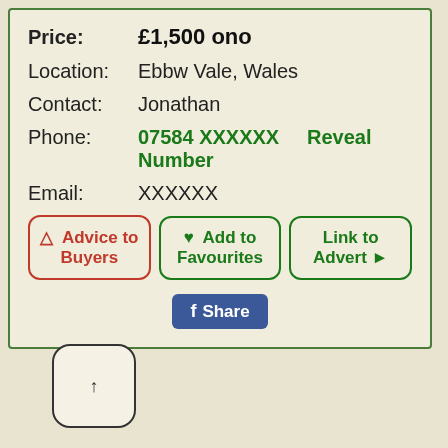Price: £1,500 ono
Location: Ebbw Vale, Wales
Contact: Jonathan
Phone: 07584 XXXXXX   Reveal Number
Email: XXXXXX
[Figure (screenshot): Three action buttons: Advice to Buyers (red border), Add to Favourites (green border), Link to Advert (green border), and a Facebook Share button]
[Figure (other): Scroll up button with upward arrow in rounded rectangle]